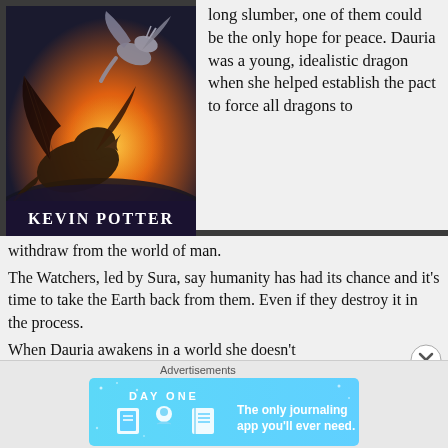[Figure (illustration): Book cover illustration showing two dragons (a dark dragon and a silver dragon) flying against a dramatic orange sunset sky. Author name 'KEVIN POTTER' appears at the bottom of the cover.]
long slumber, one of them could be the only hope for peace. Dauria was a young, idealistic dragon when she helped establish the pact to force all dragons to
withdraw from the world of man.
The Watchers, led by Sura, say humanity has had its chance and it's time to take the Earth back from them. Even if they destroy it in the process.
When Dauria awakens in a world she doesn't
Advertisements
[Figure (screenshot): Advertisement banner for 'Day One' journaling app with light blue gradient background. Shows icons of a book, person, and notebook. Text reads: 'DAY ONE - The only journaling app you'll ever need.']